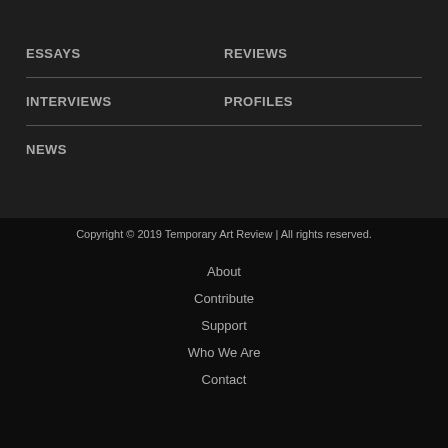ESSAYS
REVIEWS
INTERVIEWS
PROFILES
NEWS
Copyright © 2019 Temporary Art Review | All rights reserved.
About
Contribute
Support
Who We Are
Contact